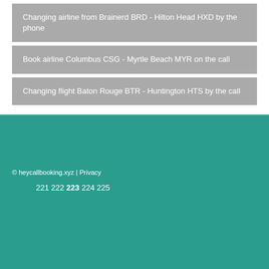Changing airline from Brainerd BRD - Hilton Head HXD by the phone
Book airline Columbus CSG - Myrtle Beach MYR on the call
Changing flight Baton Rouge BTR - Huntington HTS by the call
© heycallbooking.xyz | Privacy
221 222 223 224 225